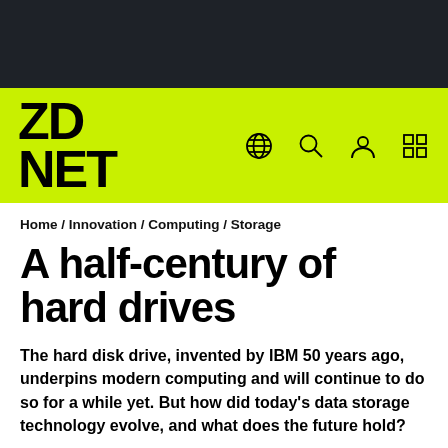[Figure (logo): Dark navigation bar at top of page]
ZDNET logo with navigation icons (globe, search, user, grid)
Home / Innovation / Computing / Storage
A half-century of hard drives
The hard disk drive, invented by IBM 50 years ago, underpins modern computing and will continue to do so for a while yet. But how did today's data storage technology evolve, and what does the future hold?